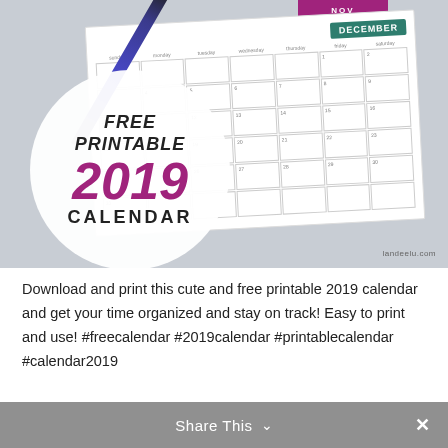[Figure (photo): A photo of a printed December 2019 calendar page with a pen resting on it, overlaid with a white circle containing the text FREE PRINTABLE 2019 CALENDAR, and a watermark reading landeelu.com]
Download and print this cute and free printable 2019 calendar and get your time organized and stay on track! Easy to print and use! #freecalendar #2019calendar #printablecalendar #calendar2019
Share This ∨  ✕